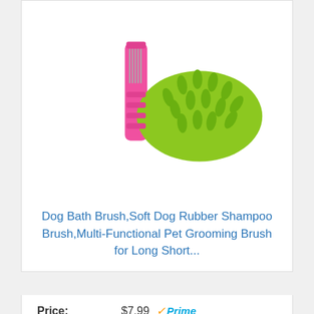[Figure (photo): Pet grooming brushes — a pink fine-tooth flea comb and a green rubber shampoo brush with rubber teeth, shown together on a white background]
Dog Bath Brush,Soft Dog Rubber Shampoo Brush,Multi-Functional Pet Grooming Brush for Long Short...
Price: $7.99 ✓Prime
Buy on Amazon
Bestseller No. 7
[Figure (photo): A hand holding a green rubber pet grooming glove/brush with protruding rubber tips, partially visible at the bottom of the page]